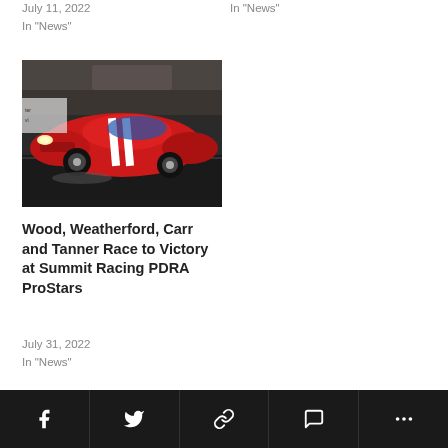July 11, 2022
In "News"
In "News"
[Figure (photo): A red sports car (Shelby Mustang) with white racing stripes performing a burnout or drag race on a track, viewed from the front-left angle. Crowd visible in background.]
Wood, Weatherford, Carr and Tanner Race to Victory at Summit Racing PDRA ProStars
July 31, 2022
In "News"
Facebook Twitter Link Comment More